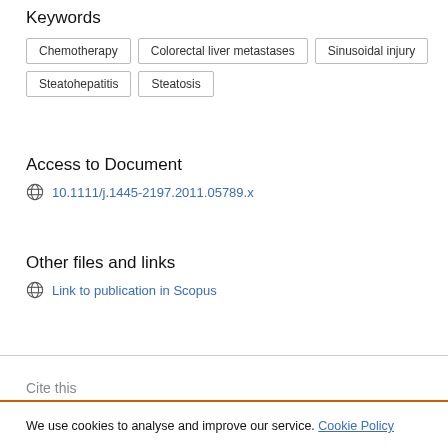Keywords
Chemotherapy
Colorectal liver metastases
Sinusoidal injury
Steatohepatitis
Steatosis
Access to Document
10.1111/j.1445-2197.2011.05789.x
Other files and links
Link to publication in Scopus
Cite this
We use cookies to analyse and improve our service. Cookie Policy